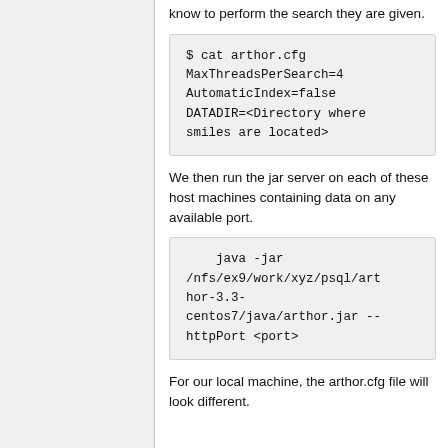know to perform the search they are given.
$ cat arthor.cfg
MaxThreadsPerSearch=4
AutomaticIndex=false
DATADIR=<Directory where smiles are located>
We then run the jar server on each of these host machines containing data on any available port.
java -jar /nfs/ex9/work/xyz/psql/arthor-3.3-centos7/java/arthor.jar --httpPort <port>
For our local machine, the arthor.cfg file will look different.